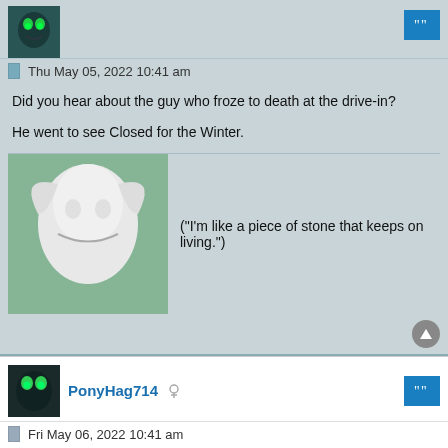[Figure (illustration): Small avatar image top-left, dark teal pony character]
Thu May 05, 2022 10:41 am
Did you hear about the guy who froze to death at the drive-in?

He went to see Closed for the Winter.
[Figure (illustration): Large avatar image of white dragon/pony character on green background]
("I'm like a piece of stone that keeps on living.")
PonyHag714
Fri May 06, 2022 10:41 am
Did you hear about the guy who was addicted to eating salt?

Don't worry, he was cured.
[Figure (illustration): Partial avatar image at bottom, white/grey character]